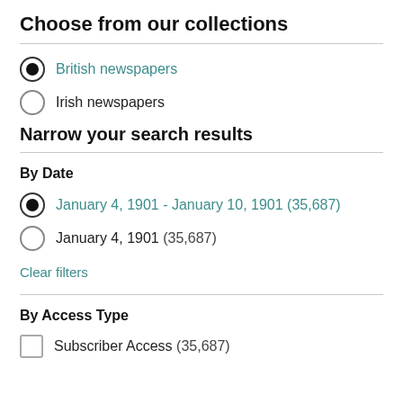Choose from our collections
British newspapers (selected)
Irish newspapers
Narrow your search results
By Date
January 4, 1901 - January 10, 1901 (35,687) (selected)
January 4, 1901 (35,687)
Clear filters
By Access Type
Subscriber Access (35,687)